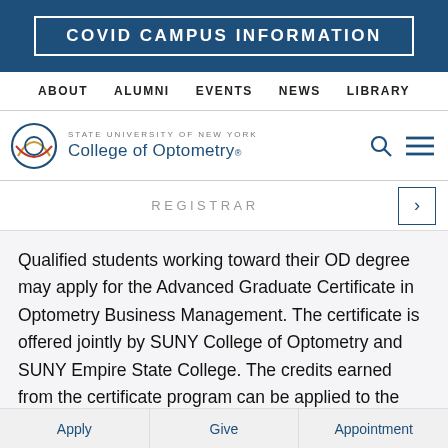COVID CAMPUS INFORMATION
ABOUT   ALUMNI   EVENTS   NEWS   LIBRARY
[Figure (logo): State University of New York College of Optometry logo with circular eye graphic]
REGISTRAR
Qualified students working toward their OD degree may apply for the Advanced Graduate Certificate in Optometry Business Management. The certificate is offered jointly by SUNY College of Optometry and SUNY Empire State College. The credits earned from the certificate program can be applied to the MBA in Healthcare Leadership program offered by SUNY Empire
Apply   Give   Appointment